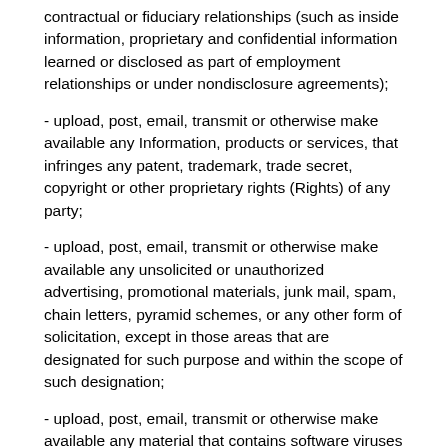contractual or fiduciary relationships (such as inside information, proprietary and confidential information learned or disclosed as part of employment relationships or under nondisclosure agreements);
- upload, post, email, transmit or otherwise make available any Information, products or services, that infringes any patent, trademark, trade secret, copyright or other proprietary rights (Rights) of any party;
- upload, post, email, transmit or otherwise make available any unsolicited or unauthorized advertising, promotional materials, junk mail, spam, chain letters, pyramid schemes, or any other form of solicitation, except in those areas that are designated for such purpose and within the scope of such designation;
- upload, post, email, transmit or otherwise make available any material that contains software viruses or any other computer code, files or programs designed to interrupt, destroy or limit the functionality of any computer software or hardware or telecommunications equipment;
- interfere with or disrupt the Service or servers or